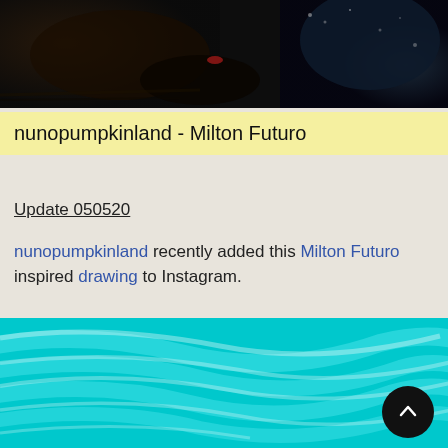[Figure (photo): Close-up photo of a dark, charred or blackened surface with blue tones and small speckles, possibly a burnt or textured artwork piece]
nunopumpkinland - Milton Futuro
Update 050520
nunopumpkinland recently added this Milton Futuro inspired drawing to Instagram.
[Figure (photo): Close-up photo of turquoise/cyan circular brush strokes on a white surface, resembling a colorful abstract drawing or painting]